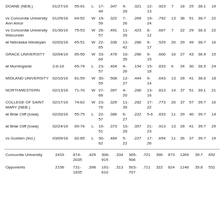| Opponent | Date | Score | W/L | FG | FG% | 3P | 3P% | FT | FT% | OR | DR | Reb | Avg | PF |
| --- | --- | --- | --- | --- | --- | --- | --- | --- | --- | --- | --- | --- | --- | --- |
| DOANE (NEB.) | 01/27/16 | 55-91 | L | 17-49 | .347 | 9-28 | .321 | 12-13 | .923 | 7 | 18 | 25 | 38.1 | 19 |
| vs Concordia University Ann Arbor | 01/29/16 | 64-52 | W | 19-59 | .322 | 7-26 | .269 | 19-24 | .792 | 13 | 38 | 51 | 38.7 | 22 |
| vs Concordia University Wisconsin | 01/30/16 | 75-53 | W | 28-57 | .491 | 11-26 | .423 | 8-12 | .667 | 7 | 22 | 29 | 38.3 | 22 |
| at Nebraska Wesleyan | 02/03/16 | 65-51 | W | 22-65 | .338 | 12-42 | .286 | 9-17 | .529 | 20 | 29 | 49 | 38.7 | 16 |
| GRACE UNIVERSITY | 02/04/16 | 85-50 | W | 33-69 | .478 | 10-35 | .286 | 9-15 | .600 | 16 | 27 | 43 | 38.9 | 15 |
| at Morningside | 2-6-16 | 65-79 | L | 23-57 | .404 | 4-26 | .154 | 15-18 | .833 | 6 | 24 | 30 | 38.5 | 24 |
| MIDLAND UNIVERSITY | 02/10/16 | 81-59 | W | 30-59 | .508 | 12-27 | .444 | 9-14 | .643 | 13 | 28 | 41 | 38.6 | 18 |
| NORTHWESTERN | 02/13/16 | 71-70 | W | 27-68 | .397 | 4-20 | .200 | 13-16 | .813 | 14 | 37 | 51 | 39.1 | 21 |
| COLLEGE OF SAINT MARY (NEB.) | 02/17/16 | 74-62 | W | 23-70 | .329 | 11-39 | .282 | 17-22 | .773 | 20 | 37 | 57 | 39.7 | 16 |
| at Briar Cliff (Iowa) | 02/20/16 | 55-75 | L | 22-57 | .386 | 6-27 | .222 | 5-6 | .833 | 11 | 29 | 40 | 39.7 | 14 |
| at Briar Cliff (Iowa) | 02/24/16 | 69-76 | L | 19-51 | .373 | 10-28 | .357 | 21-23 | .913 | 13 | 28 | 41 | 39.7 | 29 |
| vs Goshen (Ind.) | 03/09/16 | 82-85 | L | 30-62 | .484 | 5-22 | .227 | 17-26 | .654 | 11 | 26 | 37 | 39.7 | 19 |
| Team | Pts | FG | FG% | 3P | 3P% | FT | FT% | OR | DR | Reb | Avg | PF |
| --- | --- | --- | --- | --- | --- | --- | --- | --- | --- | --- | --- | --- |
| Concordia University | 2419 | 874-2035 | .429 | 306-915 | .334 | 365-506 | .721 | 396 | 873 | 1269 | 39.7 | 652 |
| Opponents | 2156 | 731-1835 | .398 | 191-610 | .313 | 503-707 | .711 | 322 | 824 | 1146 | 35.8 | 531 |